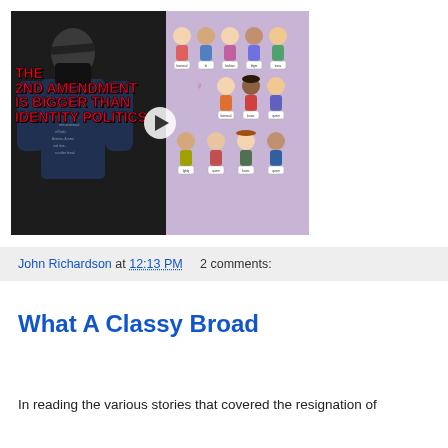[Figure (screenshot): YouTube video thumbnail showing a man with text 'THE 2ND AMENDMENT IS BIGGER THAN IDENTITY POLITICS' overlaid in red, and cartoon figures holding signs on the right side. Title reads 'The 2nd Amendm...']
John Richardson at 12:13 PM   2 comments:
What A Classy Broad
In reading the various stories that covered the resignation of